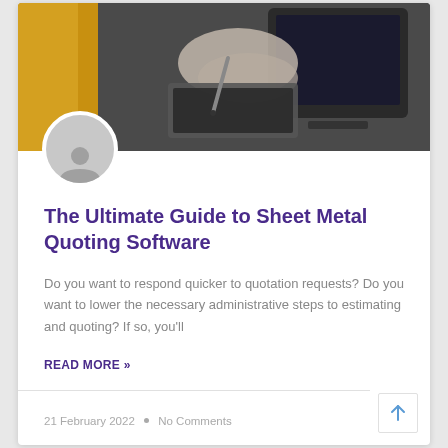[Figure (photo): Hero image showing hands working with a stylus on a graphics tablet near a computer monitor, with a yellow/golden background on the left side]
[Figure (illustration): Circular avatar/user icon in grey with a default person silhouette, overlapping the bottom of the hero image]
The Ultimate Guide to Sheet Metal Quoting Software
Do you want to respond quicker to quotation requests? Do you want to lower the necessary administrative steps to estimating and quoting? If so, you'll
READ MORE »
21 February 2022  •  No Comments